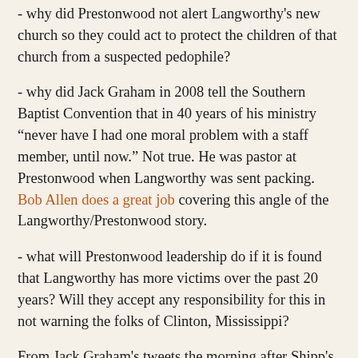- why did Prestonwood not alert Langworthy's new church so they could act to protect the children of that church from a suspected pedophile?
- why did Jack Graham in 2008 tell the Southern Baptist Convention that in 40 years of his ministry “never have I had one moral problem with a staff member, until now.” Not true. He was pastor at Prestonwood when Langworthy was sent packing. Bob Allen does a great job covering this angle of the Langworthy/Prestonwood story.
- what will Prestonwood leadership do if it is found that Langworthy has more victims over the past 20 years? Will they accept any responsibility for this in not warning the folks of Clinton, Mississippi?
From Jack Graham's tweets the morning after Shipp's story aired on TV, it seems he doesn't get it. Like Ergun Caner last summer who instead of talking to reporters and answering the allegations and chose instead to make himself the victim of Lucifer and liars, Jack Graham appears to be taking the same tack. After Brett Shipp's story broke, early the next morning Graham posted the following Tweets...